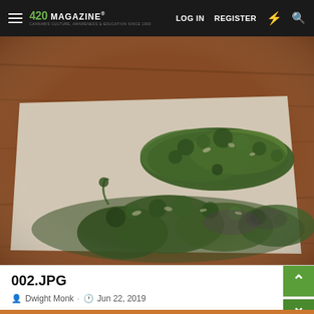420 MAGAZINE · LOG IN · REGISTER
[Figure (photo): Two dried cannabis buds placed on a white sheet of paper on a wooden table surface. The buds are dark green with brown undertones.]
002.JPG
Dwight Monk · Jun 22, 2019